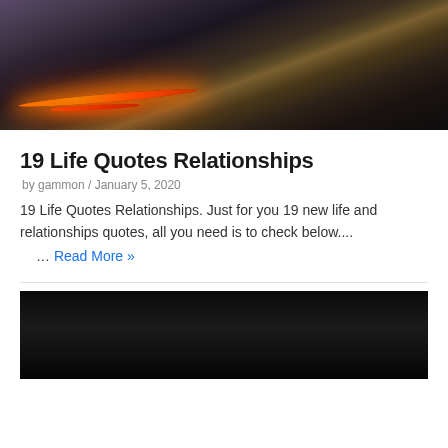[Figure (photo): Mountain landscape with glowing lava road at dusk, dark rocky hills with orange/red glow in lower left area]
19 Life Quotes Relationships
by gammon / January 5, 2020
19 Life Quotes Relationships. Just for you 19 new life and relationships quotes, all you need is to check below....
… Read More »
[Figure (photo): Dark/black image, nearly completely black, bottom portion of page]